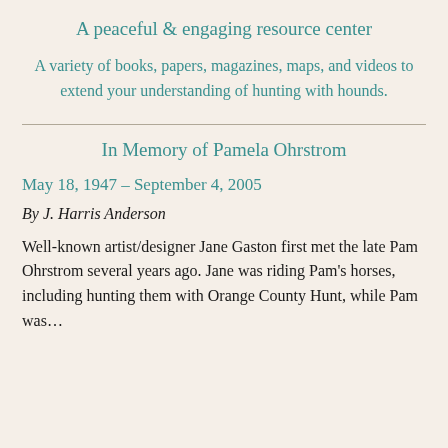A peaceful & engaging resource center
A variety of books, papers, magazines, maps, and videos to extend your understanding of hunting with hounds.
In Memory of Pamela Ohrstrom
May 18, 1947 – September 4, 2005
By J. Harris Anderson
Well-known artist/designer Jane Gaston first met the late Pam Ohrstrom several years ago. Jane was riding Pam's horses, including hunting them with Orange County Hunt, while Pam was…